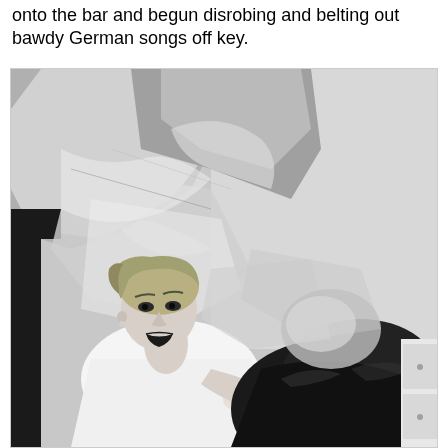onto the bar and begun disrobing and belting out bawdy German songs off key.
[Figure (photo): Black and white photograph of a blonde woman with short hair lying among scattered white packaging materials, plastic sheeting, and black garbage bags. The woman is wearing a white sleeveless top and looking up at the camera with an open mouth expression.]